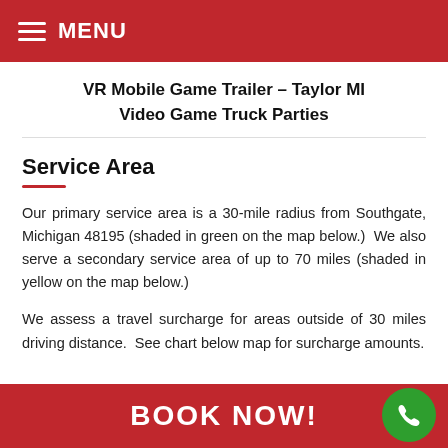MENU
VR Mobile Game Trailer – Taylor MI Video Game Truck Parties
Service Area
Our primary service area is a 30-mile radius from Southgate, Michigan 48195 (shaded in green on the map below.)  We also serve a secondary service area of up to 70 miles (shaded in yellow on the map below.)
We assess a travel surcharge for areas outside of 30 miles driving distance.  See chart below map for surcharge amounts.
BOOK NOW!